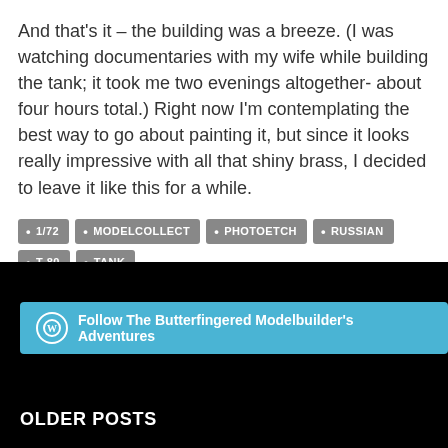And that’s it – the building was a breeze. (I was watching documentaries with my wife while building the tank; it took me two evenings altogether- about four hours total.) Right now I’m contemplating the best way to go about painting it, but since it looks really impressive with all that shiny brass, I decided to leave it like this for a while.
1/72
MODELCOLLECT
PHOTOETCH
RUSSIAN
T-80
TANK
Follow The Butterfingered Modelbuilder’s Adventures
OLDER POSTS